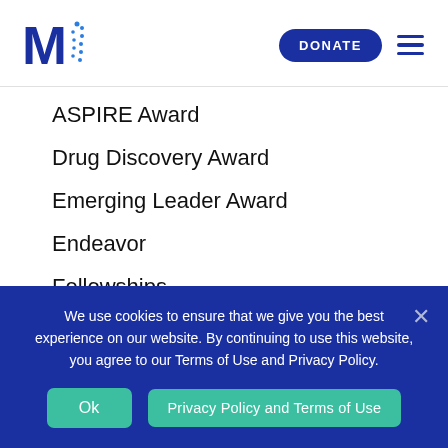M [logo] | DONATE [button] [hamburger menu]
ASPIRE Award
Drug Discovery Award
Emerging Leader Award
Endeavor
Fellowships
Partnerships
We use cookies to ensure that we give you the best experience on our website. By continuing to use this website, you agree to our Terms of Use and Privacy Policy.
Ok | Privacy Policy and Terms of Use